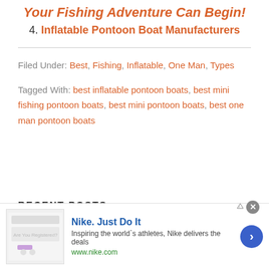Your Fishing Adventure Can Begin!
4. Inflatable Pontoon Boat Manufacturers
Filed Under: Best, Fishing, Inflatable, One Man, Types
Tagged With: best inflatable pontoon boats, best mini fishing pontoon boats, best mini pontoon boats, best one man pontoon boats
RECENT POSTS
[Figure (infographic): Nike advertisement banner with Nike logo image, text 'Nike. Just Do It', 'Inspiring the world`s athletes, Nike delivers the deals', 'www.nike.com', a blue arrow button, and a close X button]